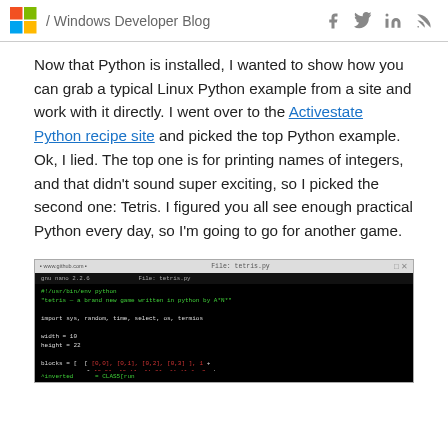/ Windows Developer Blog
Now that Python is installed, I wanted to show how you can grab a typical Linux Python example from a site and work with it directly. I went over to the Activestate Python recipe site and picked the top Python example. Ok, I lied. The top one is for printing names of integers, and that didn't sound super exciting, so I picked the second one: Tetris. I figured you all see enough practical Python every day, so I'm going to go for another game.
[Figure (screenshot): Terminal/command prompt window showing Python code for a Tetris game. Dark background with green and red text. Shows import statements, variable declarations for width and height, and a blocks array definition.]